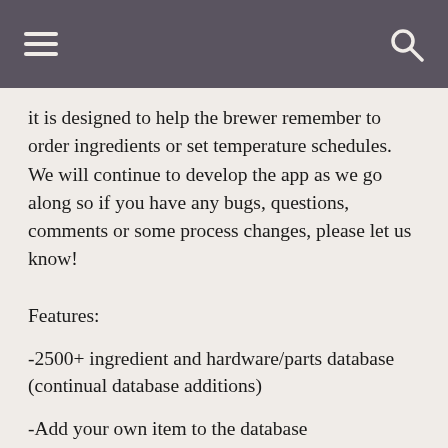it is designed to help the brewer remember to order ingredients or set temperature schedules. We will continue to develop the app as we go along so if you have any bugs, questions, comments or some process changes, please let us know!
Features:
-2500+ ingredient and hardware/parts database (continual database additions)
-Add your own item to the database
-Schedule your cold side brew process
-Schedule your ingredient orders